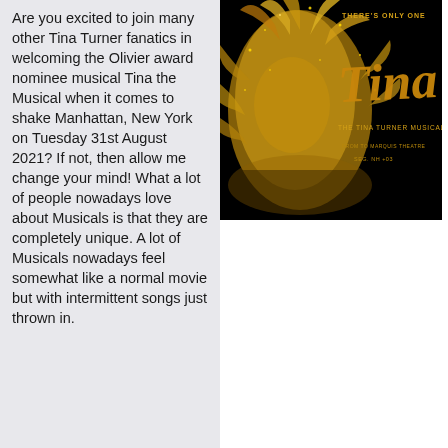Are you excited to join many other Tina Turner fanatics in welcoming the Olivier award nominee musical Tina the Musical when it comes to shake Manhattan, New York on Tuesday 31st August 2021? If not, then allow me change your mind! What a lot of people nowadays love about Musicals is that they are completely unique. A lot of Musicals nowadays feel somewhat like a normal movie but with intermittent songs just thrown in.
[Figure (photo): Promotional poster for Tina the Tina Turner Musical. Black background with a golden glittery image of a woman's face and feathered hair. Text reads 'THERE'S ONLY ONE', 'Tina', 'THE TINA TURNER MUSICAL', 'FROM TO MARQUIS THEATRE', 'SEG. NH +03'.]